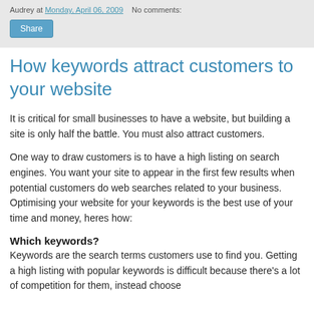Audrey at Monday, April 06, 2009   No comments:
Share
How keywords attract customers to your website
It is critical for small businesses to have a website, but building a site is only half the battle. You must also attract customers.
One way to draw customers is to have a high listing on search engines. You want your site to appear in the first few results when potential customers do web searches related to your business. Optimising your website for your keywords is the best use of your time and money, heres how:
Which keywords?
Keywords are the search terms customers use to find you. Getting a high listing with popular keywords is difficult because there's a lot of competition for them, instead choose